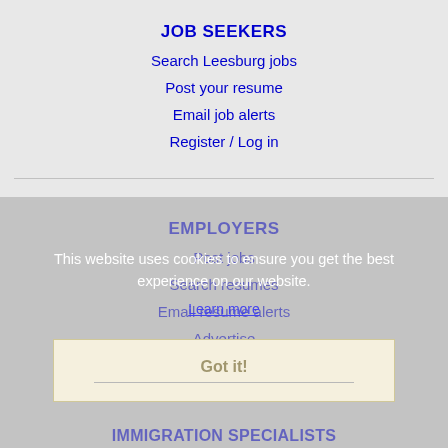JOB SEEKERS
Search Leesburg jobs
Post your resume
Email job alerts
Register / Log in
EMPLOYERS
Post jobs
Search resumes
Email resume alerts
Advertise
This website uses cookies to ensure you get the best experience on our website.
Learn more
Got it!
IMMIGRATION SPECIALISTS